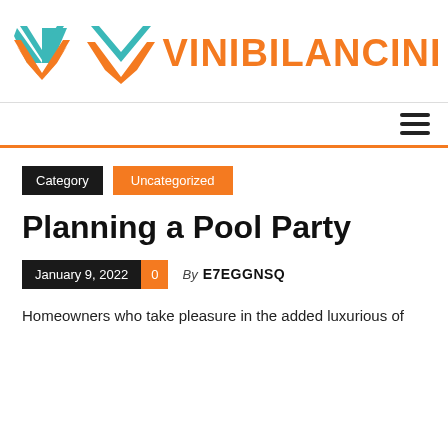[Figure (logo): Vinibilancini logo with teal and orange V chevron icon and orange bold text VINIBILANCINI]
Category | Uncategorized
Planning a Pool Party
January 9, 2022  0  By E7EGGNSQ
Homeowners who take pleasure in the added luxurious of